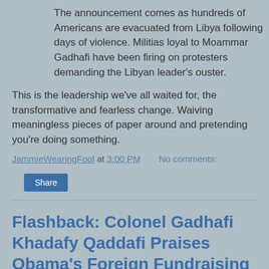The announcement comes as hundreds of Americans are evacuated from Libya following days of violence. Militias loyal to Moammar Gadhafi have been firing on protesters demanding the Libyan leader's ouster.
This is the leadership we've all waited for, the transformative and fearless change. Waiving meaningless pieces of paper around and pretending you're doing something.
JammieWearingFool at 3:00 PM    No comments:
Share
Flashback: Colonel Gadhafi Khadafy Qaddafi Praises Obama's Foreign Fundraising Prowess
Interesting the gems one can unearth with this here Internet thing. Thanks, Algore!